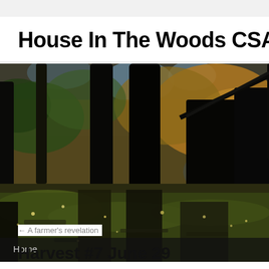House In The Woods CSA Blog
[Figure (photo): Forest scene with tall dark tree trunks and mossy ground covered in dappled light and shadows, with autumn foliage visible. A navigation bar at the bottom shows 'Home'.]
← A farmer's revelation
Harvest #7 June 29